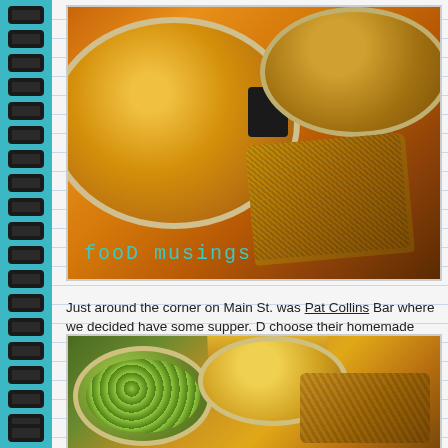[Figure (photo): Close-up photo of a bowl of homemade soup with brown bread beside it. A dark pepper grinder is visible. Text overlay reads 'food musings' in teal handwritten font.]
Just around the corner on Main St. was Pat Collins Bar where we decided have some supper.  D choose their homemade soup and brown bread.
[Figure (photo): Close-up photo of a meal including a bowl with green vegetables, a bowl of chips/fries, and brown bread on a platter.]